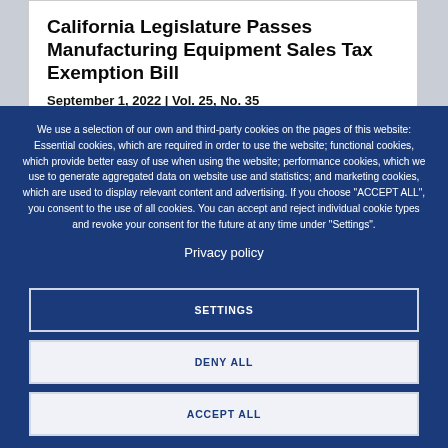California Legislature Passes Manufacturing Equipment Sales Tax Exemption Bill
September 1, 2022 | Vol. 25, No. 35
We use a selection of our own and third-party cookies on the pages of this website: Essential cookies, which are required in order to use the website; functional cookies, which provide better easy of use when using the website; performance cookies, which we use to generate aggregated data on website use and statistics; and marketing cookies, which are used to display relevant content and advertising. If you choose "ACCEPT ALL", you consent to the use of all cookies. You can accept and reject individual cookie types and revoke your consent for the future at any time under "Settings".
Privacy policy
SETTINGS
DENY ALL
ACCEPT ALL